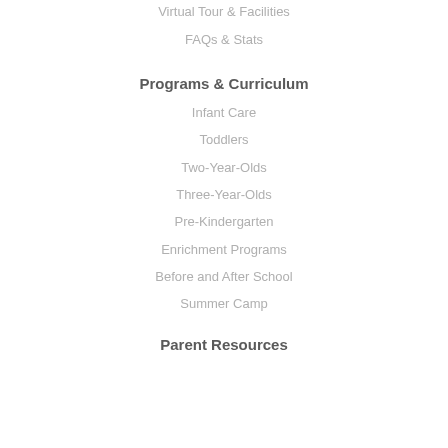Virtual Tour & Facilities
FAQs & Stats
Programs & Curriculum
Infant Care
Toddlers
Two-Year-Olds
Three-Year-Olds
Pre-Kindergarten
Enrichment Programs
Before and After School
Summer Camp
Parent Resources